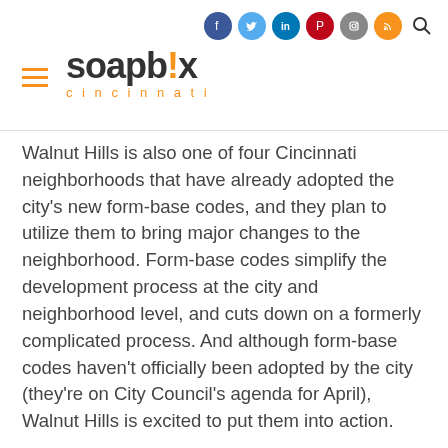soapbox cincinnati
Walnut Hills is also one of four Cincinnati neighborhoods that have already adopted the city's new form-base codes, and they plan to utilize them to bring major changes to the neighborhood. Form-base codes simplify the development process at the city and neighborhood level, and cuts down on a formerly complicated process. And although form-base codes haven't officially been adopted by the city (they're on City Council's agenda for April), Walnut Hills is excited to put them into action.
The focus area of Walnut Hills is in the center of the neighborhood at Peebles Corner, which was